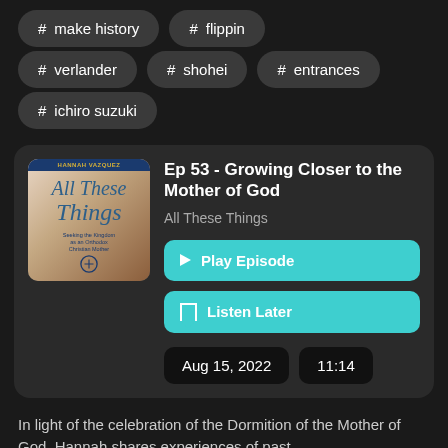# make history
# flippin
# verlander
# shohei
# entrances
# ichiro suzuki
[Figure (screenshot): Podcast episode card for 'Ep 53 - Growing Closer to the Mother of God' from All These Things podcast, with Play Episode and Listen Later buttons, dated Aug 15, 2022, duration 11:14]
In light of the celebration of the Dormition of the Mother of God, Hannah shares experiences of past